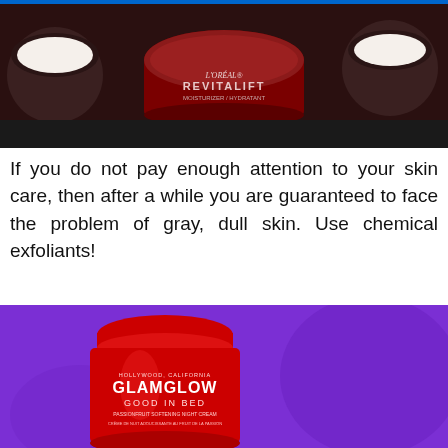[Figure (photo): Photo of skincare products including L'Oreal Paris Revitalift Moisturizer/Hydratant jar surrounded by other cream products on dark background]
If you do not pay enough attention to your skin care, then after a while you are guaranteed to face the problem of gray, dull skin. Use chemical exfoliants!
[Figure (photo): Photo of GlamGlow Good in Bed Passionfruit Softening Night Cream red jar and Farmacy Honeymoon Glow bottle on purple background]